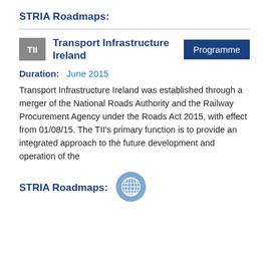STRIA Roadmaps:
Transport Infrastructure Ireland | Programme
Duration: June 2015
Transport Infrastructure Ireland was established through a merger of the National Roads Authority and the Railway Procurement Agency under the Roads Act 2015, with effect from 01/08/15. The TII's primary function is to provide an integrated approach to the future development and operation of the
STRIA Roadmaps: